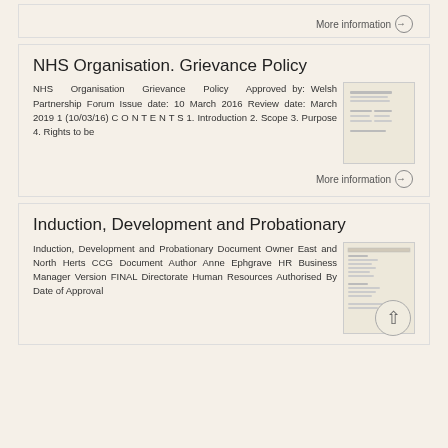More information →
NHS Organisation. Grievance Policy
NHS Organisation Grievance Policy Approved by: Welsh Partnership Forum Issue date: 10 March 2016 Review date: March 2019 1 (10/03/16) C O N T E N T S 1. Introduction 2. Scope 3. Purpose 4. Rights to be
More information →
Induction, Development and Probationary
Induction, Development and Probationary Document Owner East and North Herts CCG Document Author Anne Ephgrave HR Business Manager Version FINAL Directorate Human Resources Authorised By Date of Approval